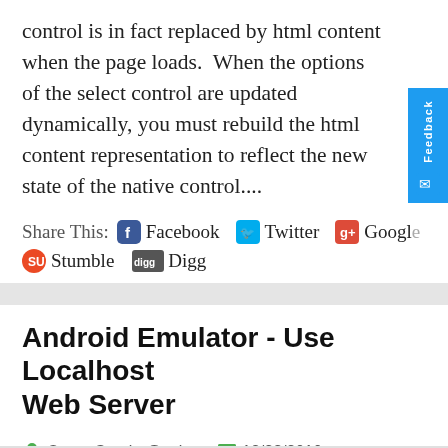control is in fact replaced by html content when the page loads.  When the options of the select control are updated dynamically, you must rebuild the html content representation to reflect the new state of the native control....
Share This:  Facebook  Twitter  Google  Stumble  Digg
Android Emulator - Use Localhost Web Server
Oscar Garcia @ozkary  12/23/2010  android , mobile , web